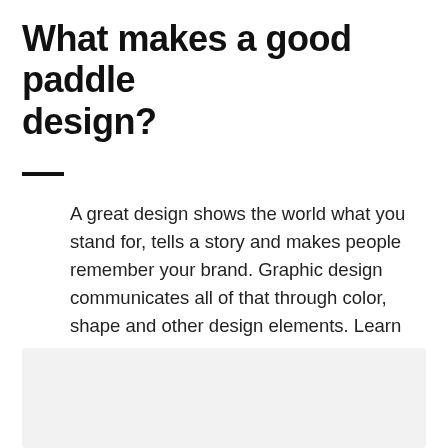What makes a good paddle design?
A great design shows the world what you stand for, tells a story and makes people remember your brand. Graphic design communicates all of that through color, shape and other design elements. Learn how to make your paddle design tell your brand's story.
[Figure (photo): Light grey placeholder image area at the bottom of the page.]